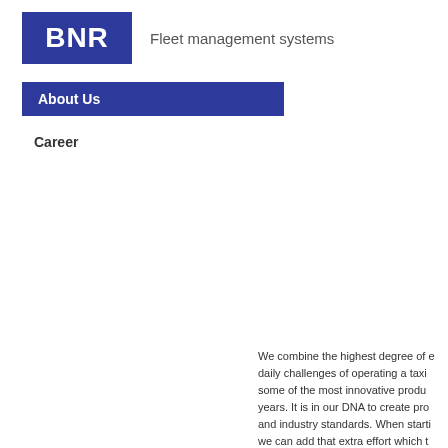BNR Fleet management systems
About Us
Career
We combine the highest degree of e... daily challenges of operating a taxi ... some of the most innovative produ... years. It is in our DNA to create pro... and industry standards. When starti... we can add that extra effort which t...